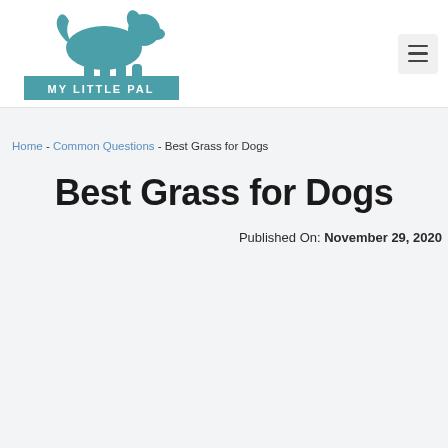[Figure (logo): My Little Pal logo: teal dog silhouette above a teal rectangle with white text 'MY LITTLE PAL']
Home - Common Questions - Best Grass for Dogs
Best Grass for Dogs
Published On: November 29, 2020